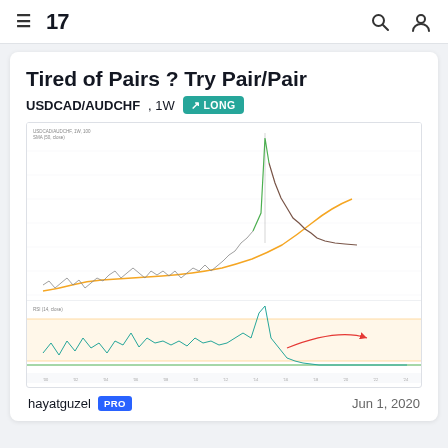TradingView navigation bar with hamburger menu, TV logo, search and user icons
Tired of Pairs ? Try Pair/Pair
USDCAD/AUDCHF, 1W  ↗ LONG
[Figure (continuous-plot): USDCAD/AUDCHF 1W price chart showing an upward trend with an orange moving average line, price spike near center-right, and an indicator panel below with a teal oscillator line and a red curved arrow annotation on a light orange background. Red price indicator label on right axis.]
hayatguzel  PRO   Jun 1, 2020